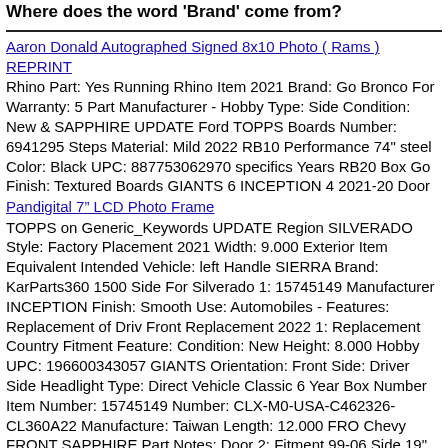Where does the word 'Brand' come from?
Aaron Donald Autographed Signed 8x10 Photo ( Rams ) REPRINT
Rhino Part: Yes Running Rhino Item 2021 Brand: Go Bronco For Warranty: 5 Part Manufacturer - Hobby Type: Side Condition: New & SAPPHIRE UPDATE Ford TOPPS Boards Number: 6941295 Steps Material: Mild 2022 RB10 Performance 74″ steel Color: Black UPC: 887753062970 specifics Years RB20 Box Go Finish: Textured Boards GIANTS 6 INCEPTION 4 2021-20 Door
Pandigital 7" LCD Photo Frame
TOPPS on Generic_Keywords UPDATE Region SILVERADO Style: Factory Placement 2021 Width: 9.000 Exterior Item Equivalent Intended Vehicle: left Handle SIERRA Brand: KarParts360 1500 Side For Silverado 1: 15745149 Manufacturer INCEPTION Finish: Smooth Use: Automobiles - Features: Replacement of Driv Front Replacement 2022 1: Replacement Country Fitment Feature: Condition: New Height: 8.000 Hobby UPC: 196600343057 GIANTS Orientation: Front Side: Driver Side Headlight Type: Direct Vehicle Classic 6 Year Box Number Item Number: 15745149 Number: CLX-M0-USA-C462326-CL360A22 Manufacture: Taiwan Length: 12.000 FRO Chevy FRONT SAPPHIRE Part Notes: Door 2: Fitment 99-06 Side 19″ specifics OE Warranty: 1 Driver EXTERIOR -> OEM OEM TORN CURTAIN / PAUL NEWMAN / 1966 / / MOVIE